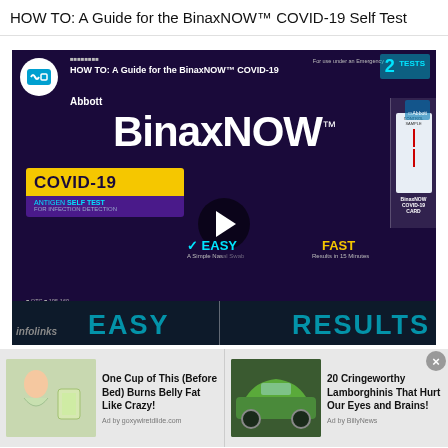HOW TO: A Guide for the BinaxNOW™ COVID-19 Self Test
[Figure (screenshot): YouTube-style video thumbnail/player for 'HOW TO: A Guide for the BinaxNOW™ COVID-19 Self Test' by Abbott. Shows the BinaxNOW COVID-19 Antigen Self Test packaging with play button overlay, EASY and FAST labels, and infolinks bar at bottom.]
[Figure (infographic): Advertisement banner: Left ad shows illustration of woman drinking liquid with headline 'One Cup of This (Before Bed) Burns Belly Fat Like Crazy!' Ad by goxywiretdlide.com. Right ad shows photo of green Lamborghini with headline '20 Cringeworthy Lamborghinis That Hurt Our Eyes and Brains!' Ad by BillyNews.]